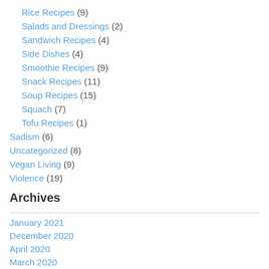Rice Recipes (9)
Salads and Dressings (2)
Sandwich Recipes (4)
Side Dishes (4)
Smoothie Recipes (9)
Snack Recipes (11)
Soup Recipes (15)
Squach (7)
Tofu Recipes (1)
Sadism (6)
Uncategorized (8)
Vegan Living (9)
Violence (19)
Archives
January 2021
December 2020
April 2020
March 2020
February 2020
April 2018
January 2018
November 2017